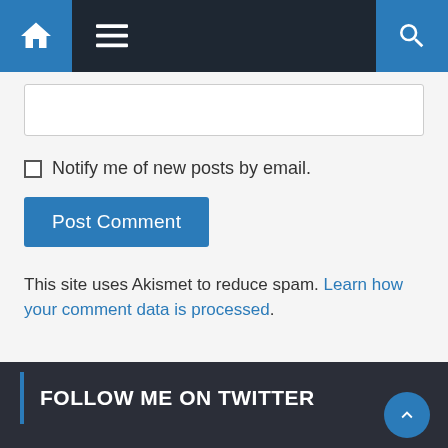[Figure (screenshot): Website navigation bar with home icon (blue), hamburger menu icon (dark), and search icon (blue) on dark background]
[Figure (screenshot): Text input box (empty, white background with border) for a comment form]
Notify me of new posts by email.
[Figure (screenshot): Blue 'Post Comment' button]
This site uses Akismet to reduce spam. Learn how your comment data is processed.
FOLLOW ME ON TWITTER
My Tweets